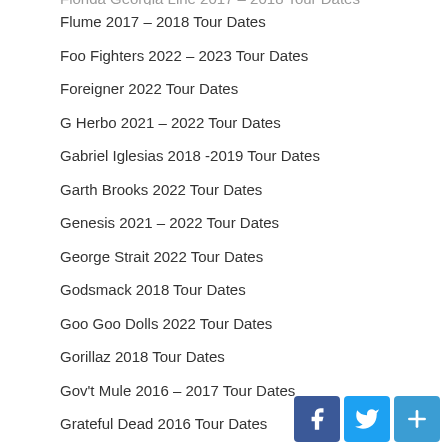Flume 2017 – 2018 Tour Dates
Foo Fighters 2022 – 2023 Tour Dates
Foreigner 2022 Tour Dates
G Herbo 2021 – 2022 Tour Dates
Gabriel Iglesias 2018 -2019 Tour Dates
Garth Brooks 2022 Tour Dates
Genesis 2021 – 2022 Tour Dates
George Strait 2022 Tour Dates
Godsmack 2018 Tour Dates
Goo Goo Dolls 2022 Tour Dates
Gorillaz 2018 Tour Dates
Gov't Mule 2016 – 2017 Tour Dates
Grateful Dead 2016 Tour Dates
Green Day 2019 – 2020 Tour Dates